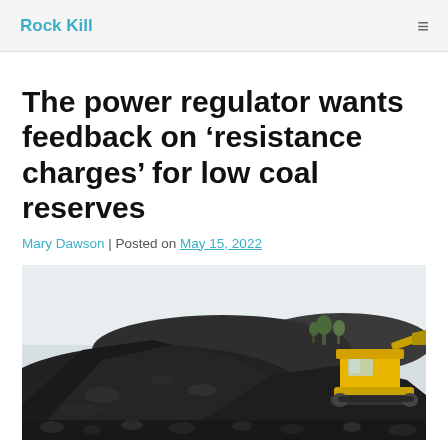Rock Kill
The power regulator wants feedback on ‘resistance charges’ for low coal reserves
Mary Dawson | Posted on May 15, 2022
[Figure (photo): A large pile of coal with a yellow backhoe/excavator on the right side, with trees visible in the background against a light sky.]